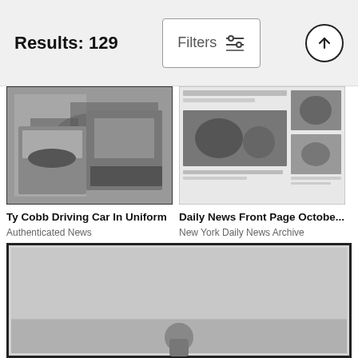Results: 129
[Figure (photo): Black and white photo of Ty Cobb sitting in a car, wearing baseball uniform]
Ty Cobb Driving Car In Uniform
Authenticated News
$9.62
[Figure (photo): Daily News front page showing baseball action photographs with headlines]
Daily News Front Page Octobe...
New York Daily News Archive
$9.62
[Figure (photo): Black and white inverted negative photo with 'WORLD SERIES' text visible at top, person visible in lower portion]